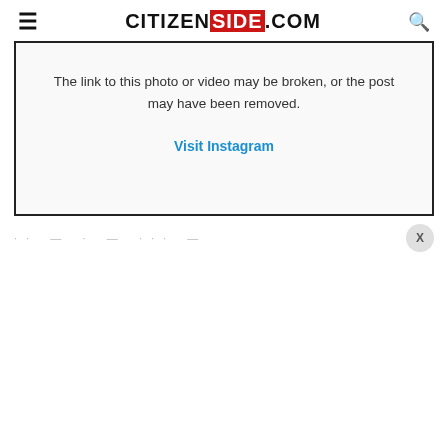CITIZENSIDE.COM
[Figure (screenshot): Embedded social media placeholder box showing a broken link message and a 'Visit Instagram' link]
The link to this photo or video may be broken, or the post may have been removed.
Visit Instagram